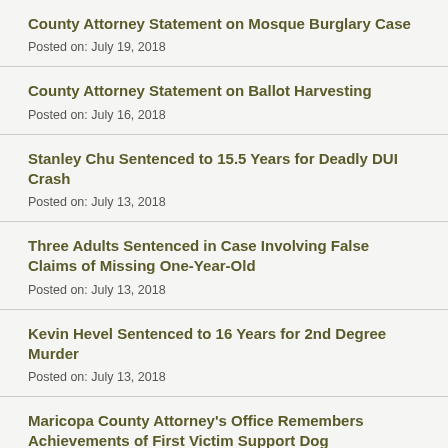County Attorney Statement on Mosque Burglary Case
Posted on: July 19, 2018
County Attorney Statement on Ballot Harvesting
Posted on: July 16, 2018
Stanley Chu Sentenced to 15.5 Years for Deadly DUI Crash
Posted on: July 13, 2018
Three Adults Sentenced in Case Involving False Claims of Missing One-Year-Old
Posted on: July 13, 2018
Kevin Hevel Sentenced to 16 Years for 2nd Degree Murder
Posted on: July 13, 2018
Maricopa County Attorney's Office Remembers Achievements of First Victim Support Dog